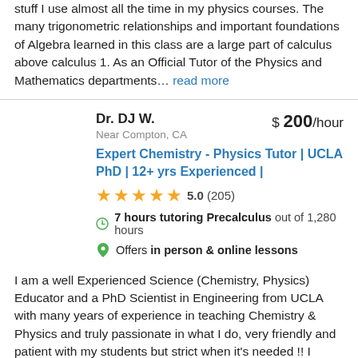stuff I use almost all the time in my physics courses. The many trigonometric relationships and important foundations of Algebra learned in this class are a large part of calculus above calculus 1. As an Official Tutor of the Physics and Mathematics departments… read more
Dr. DJ W.
$ 200/hour
Near Compton, CA
Expert Chemistry - Physics Tutor | UCLA PhD | 12+ yrs Experienced |
5.0 (205)
7 hours tutoring Precalculus out of 1,280 hours
Offers in person & online lessons
I am a well Experienced Science (Chemistry, Physics) Educator and a PhD Scientist in Engineering from UCLA with many years of experience in teaching Chemistry & Physics and truly passionate in what I do, very friendly and patient with my students but strict when it's needed !! I always get highly